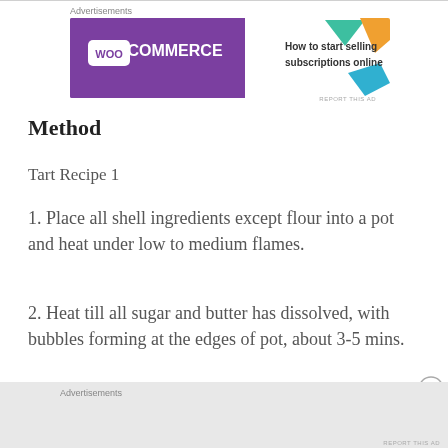[Figure (screenshot): WooCommerce advertisement banner: purple background with WooCommerce logo and text 'How to start selling subscriptions online', with decorative leaf/triangle shapes in green, orange, and blue on the right side.]
Method
Tart Recipe 1
1. Place all shell ingredients except flour into a pot and heat under low to medium flames.
2. Heat till all sugar and butter has dissolved, with bubbles forming at the edges of pot, about 3-5 mins.
Advertisements